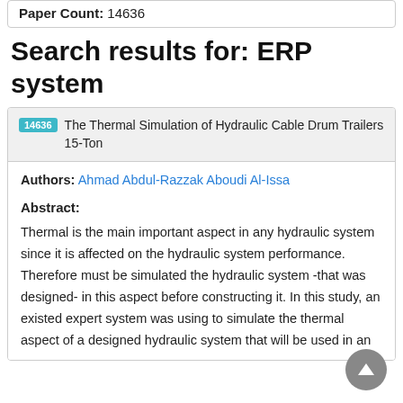Paper Count: 14636
Search results for: ERP system
14636 The Thermal Simulation of Hydraulic Cable Drum Trailers 15-Ton
Authors: Ahmad Abdul-Razzak Aboudi Al-Issa
Abstract:
Thermal is the main important aspect in any hydraulic system since it is affected on the hydraulic system performance. Therefore must be simulated the hydraulic system -that was designed- in this aspect before constructing it. In this study, an existed expert system was using to simulate the thermal aspect of a designed hydraulic system that will be used in an